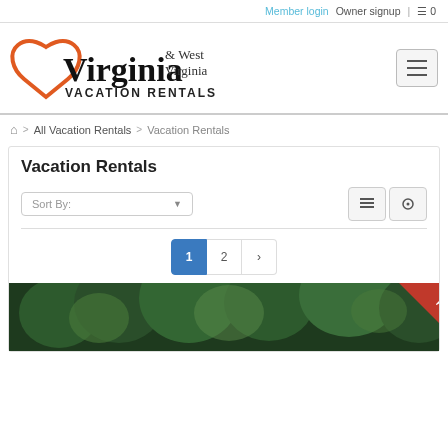Member login  Owner signup  |  0
[Figure (logo): Virginia & West Virginia Vacation Rentals logo with red heart outline and black serif text]
All Vacation Rentals > Vacation Rentals
Vacation Rentals
Sort By:
1  2  >
[Figure (photo): Trees and forest vegetation with Featured ribbon in bottom-right corner]